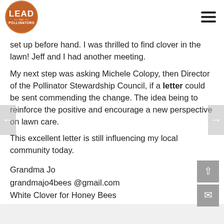Lead for Pollinators [logo]
set up before hand. I was thrilled to find clover in the lawn! Jeff and I had another meeting.
My next step was asking Michele Colopy, then Director of the Pollinator Stewardship Council, if a letter could be sent commending the change. The idea being to reinforce the positive and encourage a new perspective on lawn care.
This excellent letter is still influencing my local community today.
Grandma Jo
grandmajo4bees @gmail.com
White Clover for Honey Bees